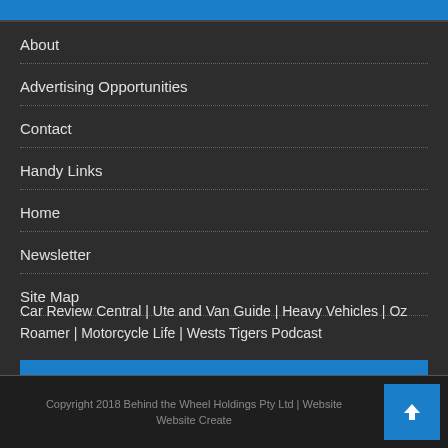[Figure (other): Blue decorative bar at top of page]
About
Advertising Opportunities
Contact
Handy Links
Home
Newsletter
Site Map
PARTNER SITES
Car Review Central | Ute and Van Guide | Heavy Vehicles | Oz Roamer | Motorcycle Life | Wests Tigers Podcast
Copyright 2018 Behind the Wheel Holdings Pty Ltd | Website  Website Create